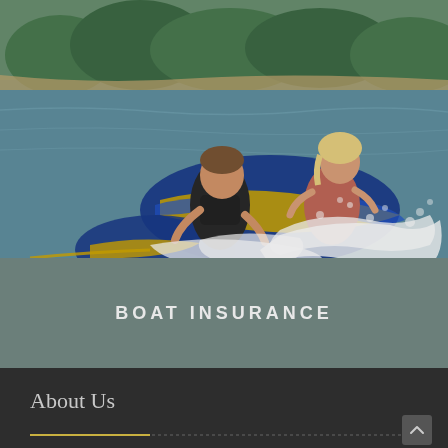[Figure (photo): Two children riding a blue and yellow inflatable tube being pulled across a lake, creating large water splashes. Both children are wearing life jackets. Green trees and shoreline visible in the background.]
BOAT INSURANCE
About Us